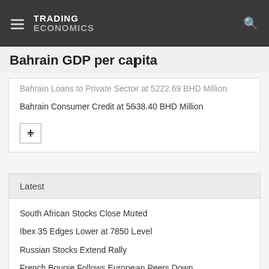TRADING ECONOMICS
Bahrain GDP per capita
Bahrain Loans to Private Sector at 5222.69 BHD Million
Bahrain Consumer Credit at 5638.40 BHD Million
Latest
South African Stocks Close Muted
Ibex 35 Edges Lower at 7850 Level
Russian Stocks Extend Rally
French Bourse Follows European Peers Down
European Stocks Slip as Recession Risks Rise
Italian Stocks Start Week with Losses
Brazil Services PMI Eases Further in August